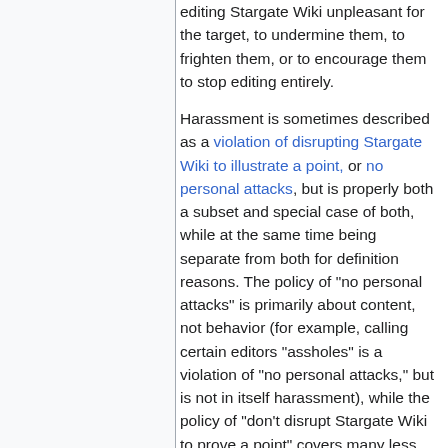editing Stargate Wiki unpleasant for the target, to undermine them, to frighten them, or to encourage them to stop editing entirely.
Harassment is sometimes described as a violation of disrupting Stargate Wiki to illustrate a point, or no personal attacks, but is properly both a subset and special case of both, while at the same time being separate from both for definition reasons. The policy of "no personal attacks" is primarily about content, not behavior (for example, calling certain editors "assholes" is a violation of "no personal attacks," but is not in itself harassment), while the policy of "don't disrupt Stargate Wiki to prove a point" covers many less malicious behaviors that, while unacceptable, are not as bad as harassment (for example, disruption